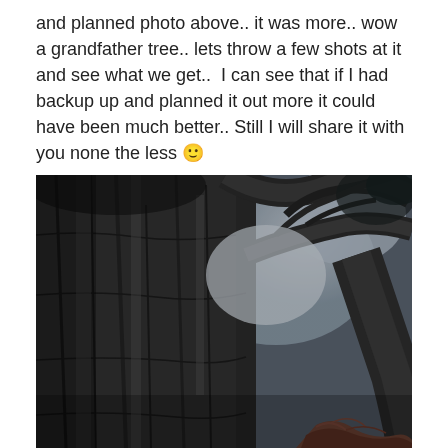and planned photo above.. it was more.. wow a grandfather tree.. lets throw a few shots at it and see what we get..  I can see that if I had backup up and planned it out more it could have been much better.. Still I will share it with you none the less 🙂
[Figure (photo): Looking up at a large ancient tree trunk from below. The tree bark is heavily textured and dark. Branches spread out against a pale sky. A person's hair is visible at the bottom right corner. Black and white / desaturated photograph.]